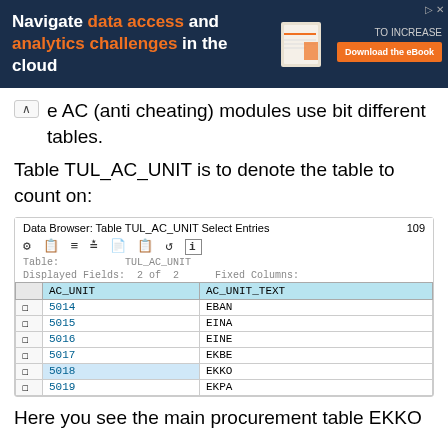[Figure (screenshot): Advertisement banner: Navigate data access and analytics challenges in the cloud. Download the eBook.]
e AC (anti cheating) modules use bit different tables.
Table TUL_AC_UNIT is to denote the table to count on:
[Figure (screenshot): Data Browser: Table TUL_AC_UNIT Select Entries 109. Shows a table with columns AC_UNIT and AC_UNIT_TEXT. Rows: 5014 EBAN, 5015 EINA, 5016 EINE, 5017 EKBE, 5018 EKKO, 5019 EKPA.]
Here you see the main procurement table EKKO